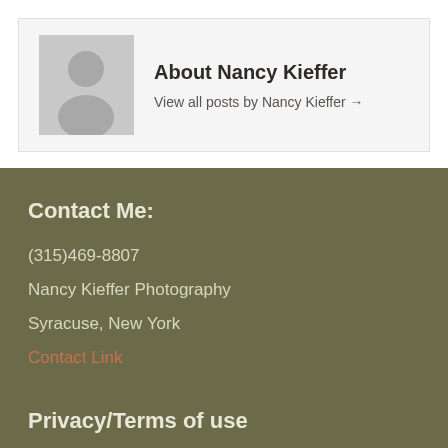[Figure (photo): Generic avatar placeholder image — grey silhouette of a person on grey background]
About Nancy Kieffer
View all posts by Nancy Kieffer →
Contact Me:
(315)469-8807
Nancy Kieffer Photography
Syracuse, New York
Contact Link
Privacy/Terms of use